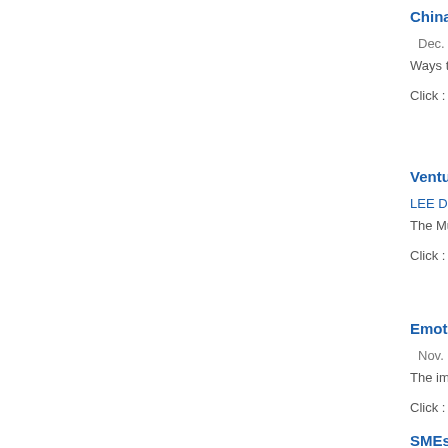China's b...
Dec. 1, 2...
Ways to c...
Click : 3,7...
Venture ...
LEE Dong...
The Musl...
Click : 4,0...
Emotion...
Nov. 19,...
The impo...
Click : 4,4...
SMEs Go...